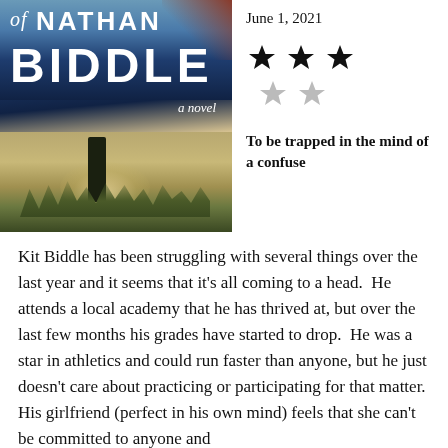[Figure (illustration): Book cover for 'The Death of Nathan Biddle, a novel' showing a dark winter night scene with a figure silhouetted against a snowy beach or marsh landscape, with the title in large white bold letters.]
June 1, 2021
[Figure (infographic): Star rating: 3 out of 5 stars — three filled black stars and two empty grey stars arranged in a 3+2 pattern.]
To be trapped in the mind of a confuse
Kit Biddle has been struggling with several things over the last year and it seems that it's all coming to a head.  He attends a local academy that he has thrived at, but over the last few months his grades have started to drop.  He was a star in athletics and could run faster than anyone, but he just doesn't care about practicing or participating for that matter.  His girlfriend (perfect in his own mind) feels that she can't be committed to anyone and